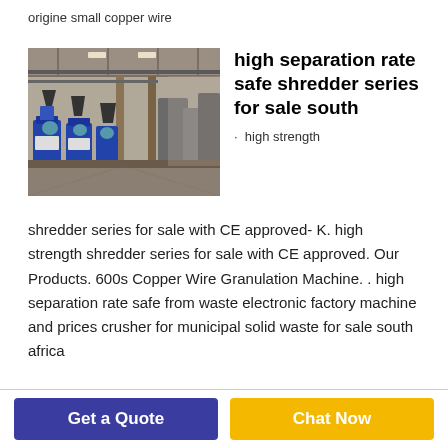origine small copper wire
[Figure (photo): Industrial factory floor showing copper wire granulation machines with blue equipment and conveyor systems in a large warehouse setting.]
high separation rate safe shredder series for sale south
high strength
shredder series for sale with CE approved- K. high strength shredder series for sale with CE approved. Our Products. 600s Copper Wire Granulation Machine. . high separation rate safe from waste electronic factory machine and prices crusher for municipal solid waste for sale south africa
Get a Quote
Chat Now